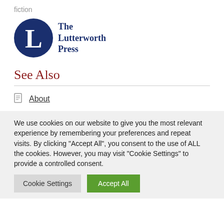fiction
[Figure (logo): The Lutterworth Press logo: dark navy circle with white letter L, beside text 'The Lutterworth Press' in navy serif font]
See Also
About
We use cookies on our website to give you the most relevant experience by remembering your preferences and repeat visits. By clicking “Accept All”, you consent to the use of ALL the cookies. However, you may visit "Cookie Settings" to provide a controlled consent.